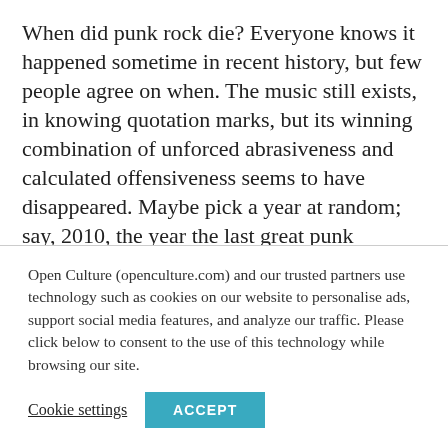When did punk rock die? Everyone knows it happened sometime in recent history, but few people agree on when. The music still exists, in knowing quotation marks, but its winning combination of unforced abrasiveness and calculated offensiveness seems to have disappeared. Maybe pick a year at random; say, 2010, the year the last great punk songwriter, Jay Reatard, died. It also happens to be the year the last great punk band, OFF!, formed, but they're a
Open Culture (openculture.com) and our trusted partners use technology such as cookies on our website to personalise ads, support social media features, and analyze our traffic. Please click below to consent to the use of this technology while browsing our site.
Cookie settings  ACCEPT